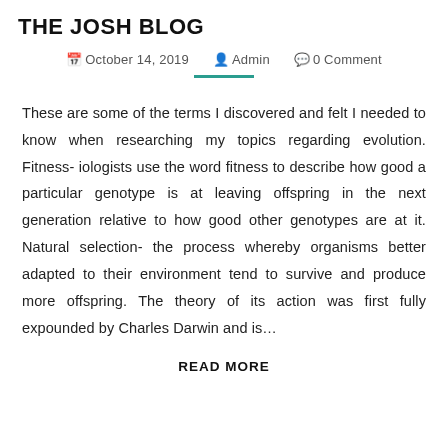THE JOSH BLOG
October 14, 2019  Admin  0 Comment
These are some of the terms I discovered and felt I needed to know when researching my topics regarding evolution. Fitness- iologists use the word fitness to describe how good a particular genotype is at leaving offspring in the next generation relative to how good other genotypes are at it. Natural selection- the process whereby organisms better adapted to their environment tend to survive and produce more offspring. The theory of its action was first fully expounded by Charles Darwin and is…
READ MORE